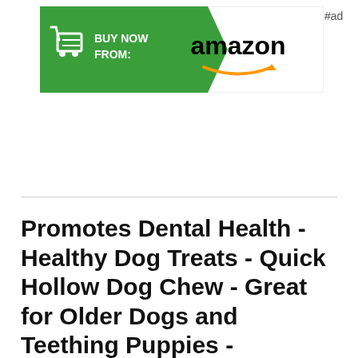[Figure (other): Amazon 'Buy Now From' advertisement banner with green arrow shape containing shopping cart icon and 'BUY NOW FROM:' text in white, Amazon logo with smile arrow, and #ad label]
Promotes Dental Health - Healthy Dog Treats - Quick Hollow Dog Chew - Great for Older Dogs and Teething Puppies - Barkworthies 6-inch Beef Gullet Sticks 12 pk - Protein-Packed, Highly